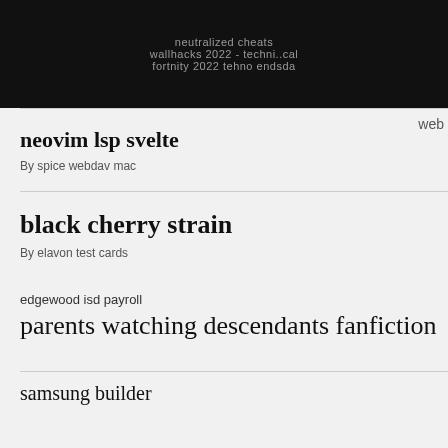neutralized cheats
wallhacks 2022 - techni..cal
fortnity 2022 tehno endsda
web
neovim lsp svelte
By spice webdav mac
black cherry strain
By elavon test cards
edgewood isd payroll
parents watching descendants fanfiction
samsung builder